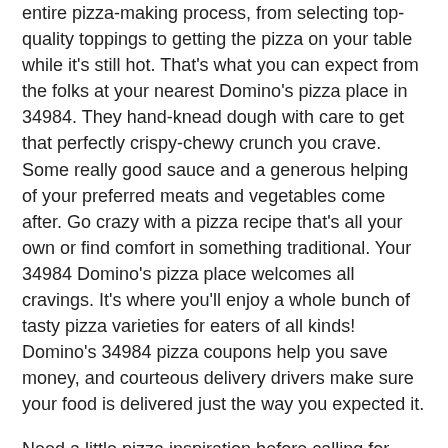entire pizza-making process, from selecting top-quality toppings to getting the pizza on your table while it's still hot. That's what you can expect from the folks at your nearest Domino's pizza place in 34984. They hand-knead dough with care to get that perfectly crispy-chewy crunch you crave. Some really good sauce and a generous helping of your preferred meats and vegetables come after. Go crazy with a pizza recipe that's all your own or find comfort in something traditional. Your 34984 Domino's pizza place welcomes all cravings. It's where you'll enjoy a whole bunch of tasty pizza varieties for eaters of all kinds! Domino's 34984 pizza coupons help you save money, and courteous delivery drivers make sure your food is delivered just the way you expected it.
Need a little pizza inspiration before calling for 34984 pizza delivery? Take a look at some of Domino's most popular pizza recipes, like the ExtravaganZZa Pizza. It comes overflowing with the meats you love most, including pepperoni, ham, Italian sausage, and beef. Meat lovers also drool over the MeatZZa, a specialty Domino's pizza that features ham, pepperoni, and Italian sausage that's all sandwiched between two layers of 100% real mozzarella. It's downright meat-tastic. But you'll also find